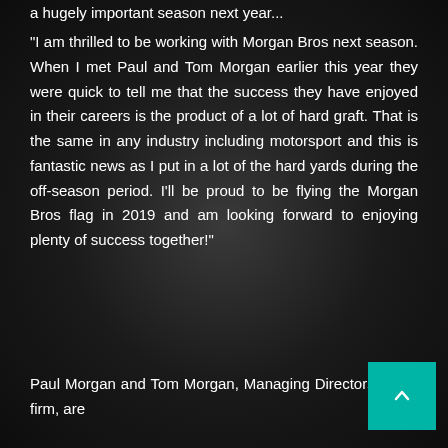a hugely important season next year...
“I am thrilled to be working with Morgan Bros next season. When I met Paul and Tom Morgan earlier this year they were quick to tell me that the success they have enjoyed in their careers is the product of a lot of hard graft. That is the same in any industry including motorsport and this is fantastic news as I put in a lot of the hard yards during the off-season period. I’ll be proud to be flying the Morgan Bros flag in 2019 and am looking forward to enjoying plenty of success together!”
Paul Morgan and Tom Morgan, Managing Directors of the firm, are